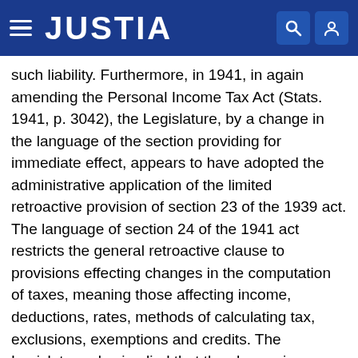JUSTIA
such liability. Furthermore, in 1941, in again amending the Personal Income Tax Act (Stats. 1941, p. 3042), the Legislature, by a change in the language of the section providing for immediate effect, appears to have adopted the administrative application of the limited retroactive provision of section 23 of the 1939 act. The language of section 24 of the 1941 act restricts the general retroactive clause to provisions effecting changes in the computation of taxes, meaning those affecting income, deductions, rates, methods of calculating tax, exclusions, exemptions and credits. The Legislature also implied that the change in wording was not to indicate that a change in meaning was intended. In White v. Winchester Country Club, 315 U.S. 32 [62 S. Ct. 425, 86 L. Ed. 619], administrative interpretation of a prior provision in a revenue law and subsequent legislative definition in accord therewith was held acceptable